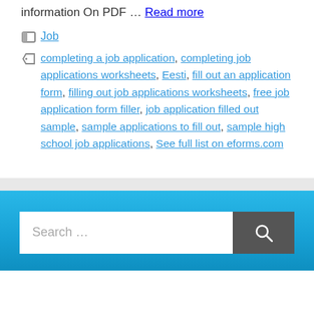information On PDF … Read more
Categories: Job
Tags: completing a job application, completing job applications worksheets, Eesti, fill out an application form, filling out job applications worksheets, free job application form filler, job application filled out sample, sample applications to fill out, sample high school job applications, See full list on eforms.com
Search …